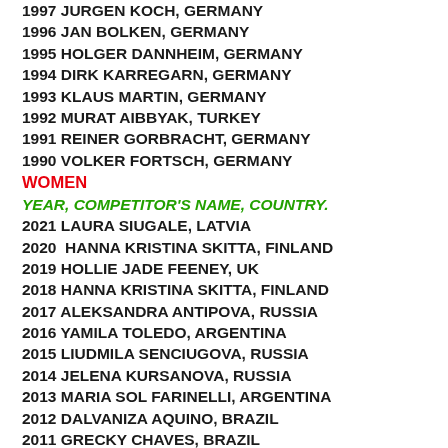1997 JURGEN KOCH, GERMANY
1996 JAN BOLKEN, GERMANY
1995 HOLGER DANNHEIM, GERMANY
1994 DIRK KARREGARN, GERMANY
1993 KLAUS MARTIN, GERMANY
1992 MURAT AIBBYAK, TURKEY
1991 REINER GORBRACHT, GERMANY
1990 VOLKER FORTSCH, GERMANY
WOMEN
YEAR, COMPETITOR'S NAME, COUNTRY.
2021 LAURA SIUGALE, LATVIA
2020  HANNA KRISTINA SKITTA, FINLAND
2019 HOLLIE JADE FEENEY, UK
2018 HANNA KRISTINA SKITTA, FINLAND
2017 ALEKSANDRA ANTIPOVA, RUSSIA
2016 YAMILA TOLEDO, ARGENTINA
2015 LIUDMILA SENCIUGOVA, RUSSIA
2014 JELENA KURSANOVA, RUSSIA
2013 MARIA SOL FARINELLI, ARGENTINA
2012 DALVANIZA AQUINO, BRAZIL
2011 GRECKY CHAVES, BRAZIL